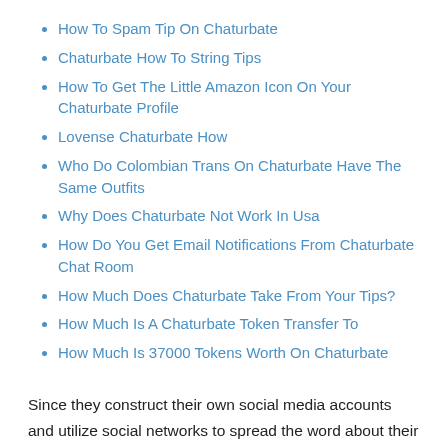How To Spam Tip On Chaturbate
Chaturbate How To String Tips
How To Get The Little Amazon Icon On Your Chaturbate Profile
Lovense Chaturbate How
Who Do Colombian Trans On Chaturbate Have The Same Outfits
Why Does Chaturbate Not Work In Usa
How Do You Get Email Notifications From Chaturbate Chat Room
How Much Does Chaturbate Take From Your Tips?
How Much Is A Chaturbate Token Transfer To
How Much Is 37000 Tokens Worth On Chaturbate
Since they construct their own social media accounts and utilize social networks to spread the word about their business, the hot models on the Web do well.